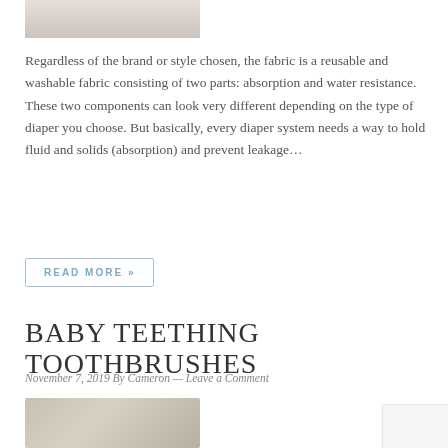[Figure (photo): Partial view of a baby or cloth diaper image, cropped at top]
Regardless of the brand or style chosen, the fabric is a reusable and washable fabric consisting of two parts: absorption and water resistance. These two components can look very different depending on the type of diaper you choose. But basically, every diaper system needs a way to hold fluid and solids (absorption) and prevent leakage…
READ MORE »
BABY TEETHING TOOTHBRUSHES
November 7, 2019 By Cameron — Leave a Comment
[Figure (photo): Baby chewing on a yellow teething toothbrush toy, smiling]